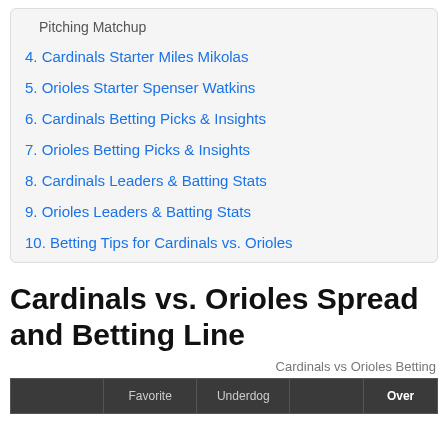Pitching Matchup
4. Cardinals Starter Miles Mikolas
5. Orioles Starter Spenser Watkins
6. Cardinals Betting Picks & Insights
7. Orioles Betting Picks & Insights
8. Cardinals Leaders & Batting Stats
9. Orioles Leaders & Batting Stats
10. Betting Tips for Cardinals vs. Orioles
Cardinals vs. Orioles Spread and Betting Line
Cardinals vs Orioles Betting
|  | Favorite | Underdog |  | Over |
| --- | --- | --- | --- | --- |